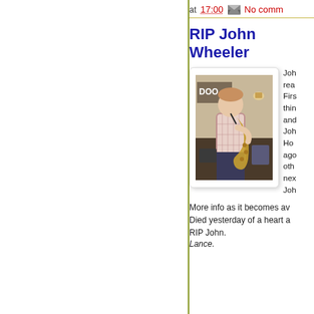at 17:00  No comm
RIP John Wheeler
[Figure (photo): Man playing saxophone on a stage, wearing a plaid shirt, indoors]
Joh real Firs thin and Joh Ho ago oth nex Joh
More info as it becomes av Died yesterday of a heart a RIP John.
Lance.